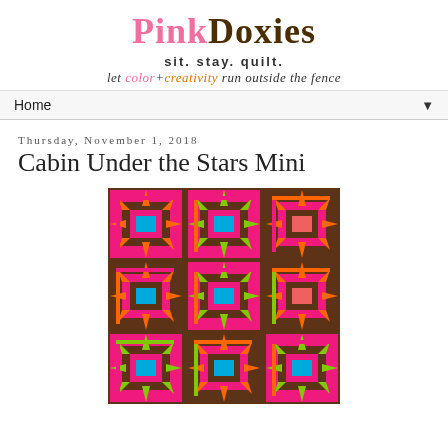Pink Doxies — sit. stay. quilt. — let color+creativity run outside the fence
Home
Thursday, November 1, 2018
Cabin Under the Stars Mini
[Figure (photo): A colorful quilt with a 'Cabin Under the Stars' pattern featuring pink, orange, green, blue, and brown fabrics arranged in a repeating star and log cabin block design.]